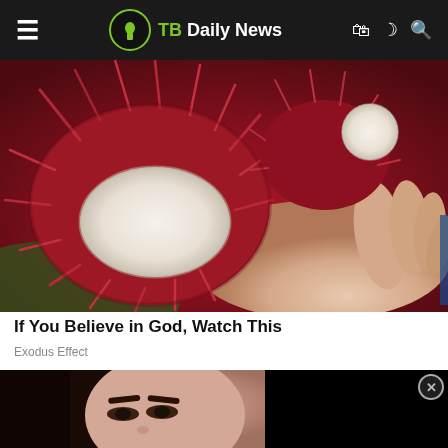TB Daily News
[Figure (photo): Close-up of rambutan fruits held in a hand — red spiky tropical fruit with white interior flesh exposed on one fruit]
If You Believe in God, Watch This
Exodus Effect
[Figure (photo): Close-up of a woman's face with dark hair and defined eyebrows, partially visible]
[Figure (other): Black video player overlay with close button (X)]